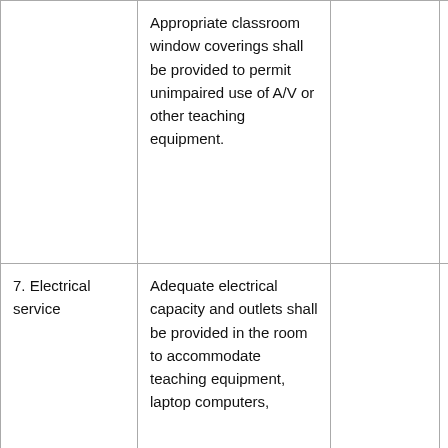|  | Appropriate classroom window coverings shall be provided to permit unimpaired use of A/V or other teaching equipment. |  |  |
| 7. Electrical service | Adequate electrical capacity and outlets shall be provided in the room to accommodate teaching equipment, laptop computers, |  |  |